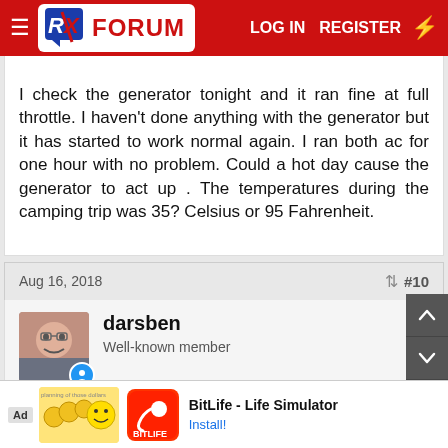RX FORUM — LOG IN   REGISTER
I check the generator tonight and it ran fine at full throttle. I haven't done anything with the generator but it has started to work normal again. I ran both ac for one hour with no problem. Could a hot day cause the generator to act up . The temperatures during the camping trip was 35? Celsius or 95 Fahrenheit.
Aug 16, 2018  #10
darsben
Well-known member
I'm now in the Gary camp. I wonder if it might be fuel pump losing capacity as temp increases. Some models were prone to vapor lock when hot. Some owners...genn...